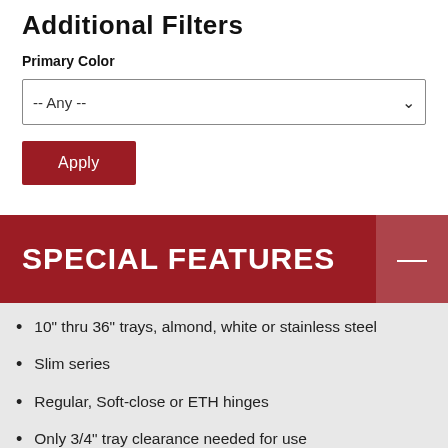Additional Filters
Primary Color
-- Any --
Apply
SPECIAL FEATURES
10" thru 36" trays, almond, white or stainless steel
Slim series
Regular, Soft-close or ETH hinges
Only 3/4" tray clearance needed for use
Easy installation
US Patent No. 7,635,171